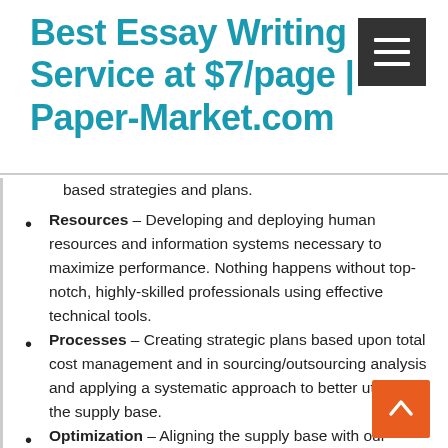Best Essay Writing Service at $7/page | Paper-Market.com
based strategies and plans.
Resources – Developing and deploying human resources and information systems necessary to maximize performance. Nothing happens without top-notch, highly-skilled professionals using effective technical tools.
Processes – Creating strategic plans based upon total cost management and in sourcing/outsourcing analysis and applying a systematic approach to better utilizing the supply base.
Optimization – Aligning the supply base with our supply chain goals and continually seeking to improve the supply chain methods and composition.